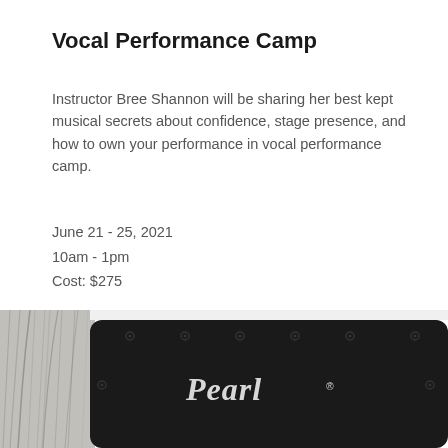Vocal Performance Camp
Instructor Bree Shannon will be sharing her best kept musical secrets about confidence, stage presence, and how to own your performance in vocal performance camp.
June 21 - 25, 2021
10am - 1pm
Cost: $275
[Figure (photo): Photo of a Pearl cajon drum box with a black front panel bearing the Pearl logo and a gray/silver wood-grain side panel]